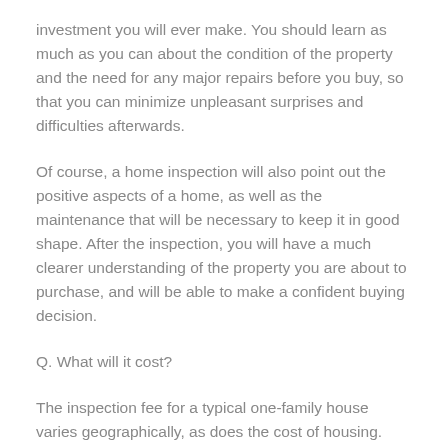investment you will ever make. You should learn as much as you can about the condition of the property and the need for any major repairs before you buy, so that you can minimize unpleasant surprises and difficulties afterwards.
Of course, a home inspection will also point out the positive aspects of a home, as well as the maintenance that will be necessary to keep it in good shape. After the inspection, you will have a much clearer understanding of the property you are about to purchase, and will be able to make a confident buying decision.
Q. What will it cost?
The inspection fee for a typical one-family house varies geographically, as does the cost of housing. Similarly, within a given area, the inspection fee may vary depending upon the size of the house, particular features of the house, its age, and